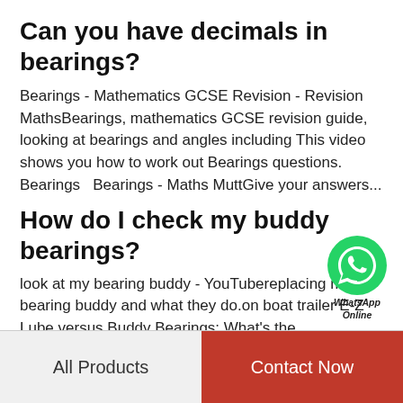Can you have decimals in bearings?
Bearings - Mathematics GCSE Revision - Revision MathsBearings, mathematics GCSE revision guide, looking at bearings and angles including This video shows you how to work out Bearings questions. Bearings  Bearings - Maths MuttGive your answers...
[Figure (logo): WhatsApp green circular logo with phone icon, labeled 'WhatsApp Online']
How do I check my buddy bearings?
look at my bearing buddy - YouTubereplacing my bearing buddy and what they do.on boat trailer E-Z Lube versus Buddy Bearings: What's the DifferenceWhat is the difference between E-Z Lube and Buddy Bearings? First check your axle because some are...
All Products    Contact Now